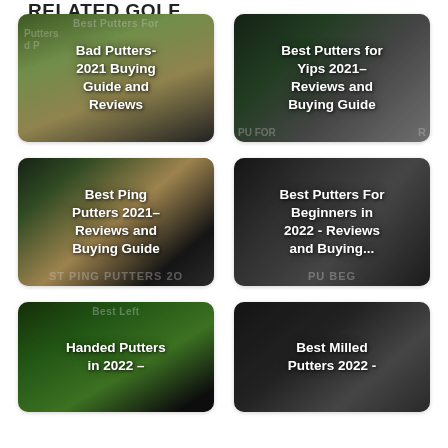RELATED GOLF
[Figure (photo): Golf putter near hole on green - card for Best Putters For Bad Putters- 2021 Buying Guide and Reviews]
[Figure (photo): Mizuno putters on grass - card for Best Putters for Yips 2021 – Reviews and Buying Guide]
[Figure (photo): Ping putter with red/black design - card for Best Ping Putters 2021 – Reviews and Buying Guide]
[Figure (photo): Golf putters close-up - card for Best Putters For Beginners in 2022 - Reviews and Buying...]
[Figure (photo): Left-handed putter on green - card for Best Left Handed Putters in 2022 –]
[Figure (photo): Milled putter close-up - card for Best Milled Putters 2022 -]